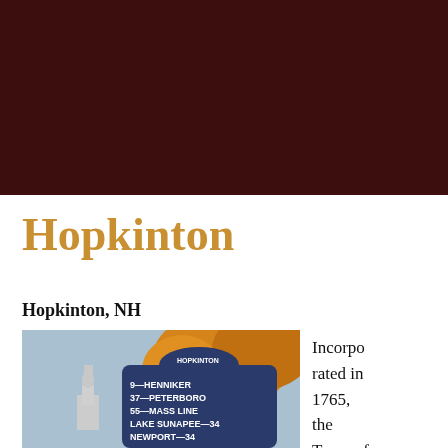[Figure (photo): Dark maroon/brown background header image area]
Hopkinton
Hopkinton, NH
[Figure (photo): Photo of a town monument/statue with a blue directional sign board showing: 9-HENNIKER, 37-PETERBORO, 55-MASS LINE, LAKE SUNAPEE-34, NEWPORT-34, with autumn foliage in background]
Incorporated in 1765, the Town of